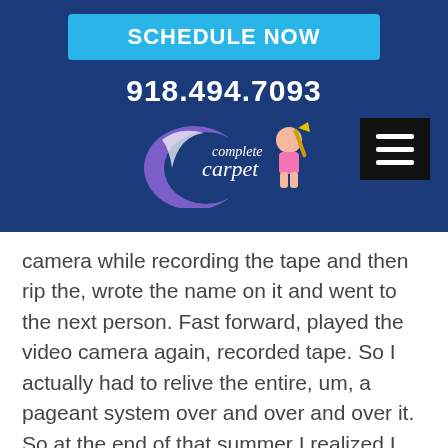SCHEDULE NOW
918.494.7093
[Figure (logo): Complete Carpet logo with purple crescent and girl with trophy]
camera while recording the tape and then rip the, wrote the name on it and went to the next person. Fast forward, played the video camera again, recorded tape. So I actually had to relive the entire, um, a pageant system over and over and over it. So at the end of that summer I realized I did not want to record pageant systems